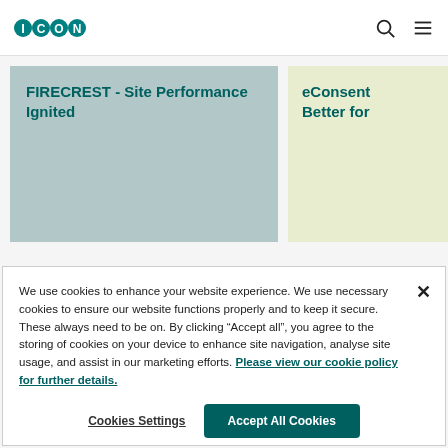ICON - navigation header with logo, search icon, and menu icon
FIRECREST - Site Performance Ignited
eConsent Better for
We use cookies to enhance your website experience. We use necessary cookies to ensure our website functions properly and to keep it secure. These always need to be on. By clicking “Accept all”, you agree to the storing of cookies on your device to enhance site navigation, analyse site usage, and assist in our marketing efforts. Please view our cookie policy for further details.
Cookies Settings
Accept All Cookies